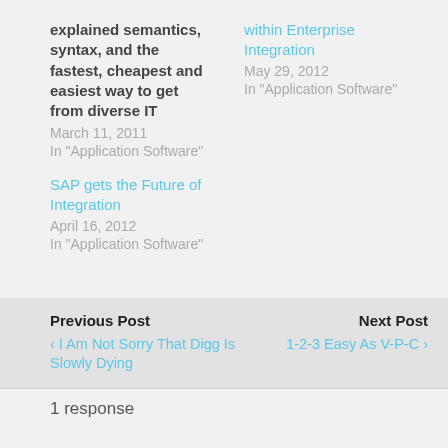explained semantics, syntax, and the fastest, cheapest and easiest way to get from diverse IT
March 11, 2011
In "Application Software"
within Enterprise Integration
May 29, 2012
In "Application Software"
SAP gets the Future of Integration
April 16, 2012
In "Application Software"
Previous Post
‹ I Am Not Sorry That Digg Is Slowly Dying
Next Post
1-2-3 Easy As V-P-C ›
1 response